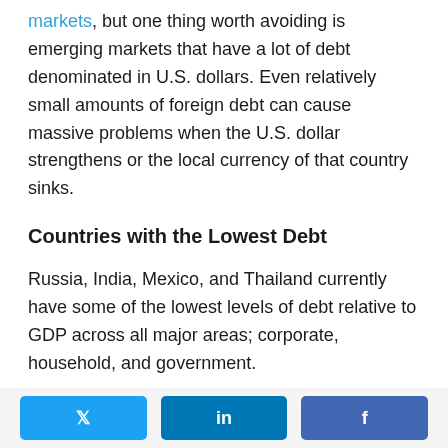markets, but one thing worth avoiding is emerging markets that have a lot of debt denominated in U.S. dollars. Even relatively small amounts of foreign debt can cause massive problems when the U.S. dollar strengthens or the local currency of that country sinks.
Countries with the Lowest Debt
Russia, India, Mexico, and Thailand currently have some of the lowest levels of debt relative to GDP across all major areas; corporate, household, and government.
[Figure (other): Social share buttons for Twitter, LinkedIn, and Facebook]